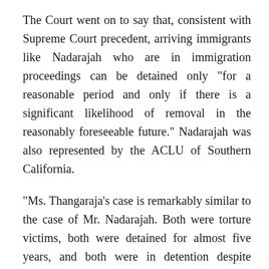The Court went on to say that, consistent with Supreme Court precedent, arriving immigrants like Nadarajah who are in immigration proceedings can be detained only "for a reasonable period and only if there is a significant likelihood of removal in the reasonably foreseeable future." Nadarajah was also represented by the ACLU of Southern California.
"Ms. Thangaraja's case is remarkably similar to the case of Mr. Nadarajah. Both were torture victims, both were detained for almost five years, and both were in detention despite winning their cases," Natarajan said. "In Ms.